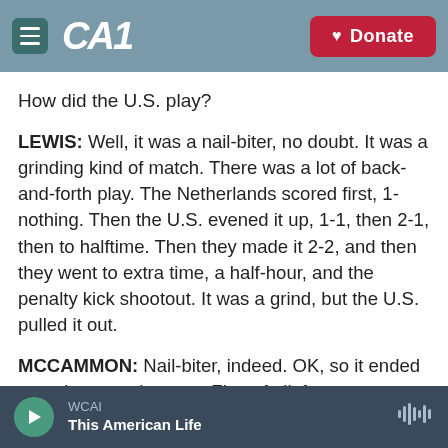CAI | Donate
How did the U.S. play?
LEWIS: Well, it was a nail-biter, no doubt. It was a grinding kind of match. There was a lot of back-and-forth play. The Netherlands scored first, 1-nothing. Then the U.S. evened it up, 1-1, then 2-1, then to halftime. Then they made it 2-2, and then they went to extra time, a half-hour, and the penalty kick shootout. It was a grind, but the U.S. pulled it out.
MCCAMMON: Nail-biter, indeed. OK, so it ended up going to a shootout. First of all, for our non-soccer
WCAI
This American Life